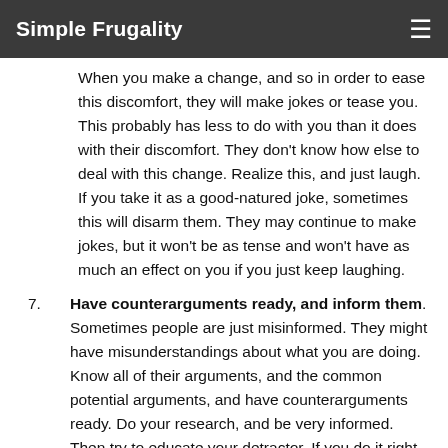Simple Frugality
When you make a change, and so in order to ease this discomfort, they will make jokes or tease you. This probably has less to do with you than it does with their discomfort. They don't know how else to deal with this change. Realize this, and just laugh. If you take it as a good-natured joke, sometimes this will disarm them. They may continue to make jokes, but it won't be as tense and won't have as much an effect on you if you just keep laughing.
7. Have counterarguments ready, and inform them. Sometimes people are just misinformed. They might have misunderstandings about what you are doing. Know all of their arguments, and the common potential arguments, and have counterarguments ready. Do your research, and be very informed. Then try to educate your detractor. If you do it right, with a positive, sincere attitude, you might actually get the person to listen, and perhaps even change their mind. If not, at the very least you know better, and you don't let their arguments create doubt in your mind.